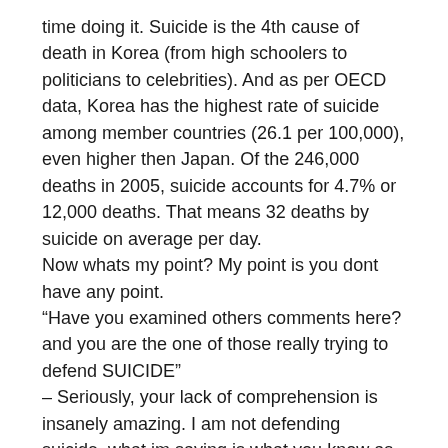time doing it. Suicide is the 4th cause of death in Korea (from high schoolers to politicians to celebrities). And as per OECD data, Korea has the highest rate of suicide among member countries (26.1 per 100,000), even higher then Japan. Of the 246,000 deaths in 2005, suicide accounts for 4.7% or 12,000 deaths. That means 32 deaths by suicide on average per day. Now whats my point? My point is you dont have any point. “Have you examined others comments here? and you are the one of those really trying to defend SUICIDE” – Seriously, your lack of comprehension is insanely amazing. I am not defending suicide, what im saying is what you know as moral is not shared by the rest of the world..so DON’T assume you are right.